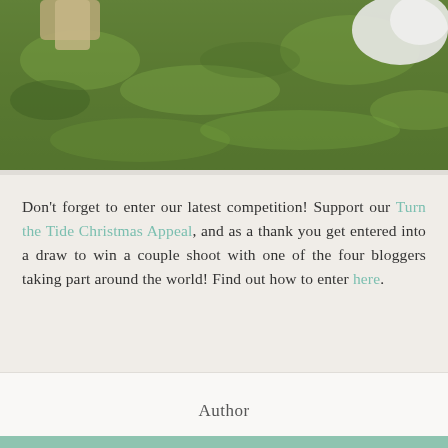[Figure (photo): Outdoor photo showing green grass with partial view of people sitting/lying on grass, a white cloth/blanket visible at upper right]
Don't forget to enter our latest competition! Support our Turn the Tide Christmas Appeal, and as a thank you get entered into a draw to win a couple shoot with one of the four bloggers taking part around the world! Find out how to enter here.
Author